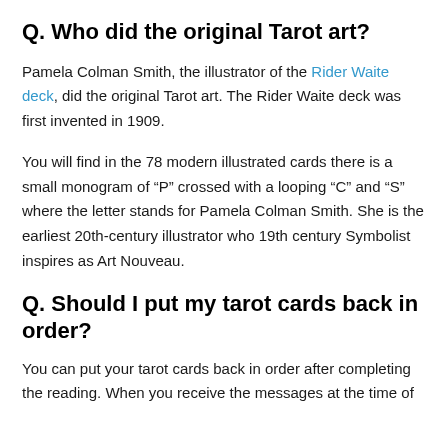Q. Who did the original Tarot art?
Pamela Colman Smith, the illustrator of the Rider Waite deck, did the original Tarot art. The Rider Waite deck was first invented in 1909.
You will find in the 78 modern illustrated cards there is a small monogram of “P” crossed with a looping “C” and “S” where the letter stands for Pamela Colman Smith. She is the earliest 20th-century illustrator who 19th century Symbolist inspires as Art Nouveau.
Q. Should I put my tarot cards back in order?
You can put your tarot cards back in order after completing the reading. When you receive the messages at the time of